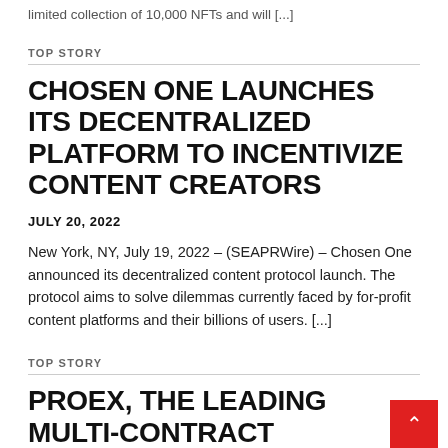limited collection of 10,000 NFTs and will [...]
TOP STORY
CHOSEN ONE LAUNCHES ITS DECENTRALIZED PLATFORM TO INCENTIVIZE CONTENT CREATORS
JULY 20, 2022
New York, NY, July 19, 2022 – (SEAPRWire) – Chosen One announced its decentralized content protocol launch. The protocol aims to solve dilemmas currently faced by for-profit content platforms and their billions of users. [...]
TOP STORY
PROEX, THE LEADING MULTI-CONTRACT